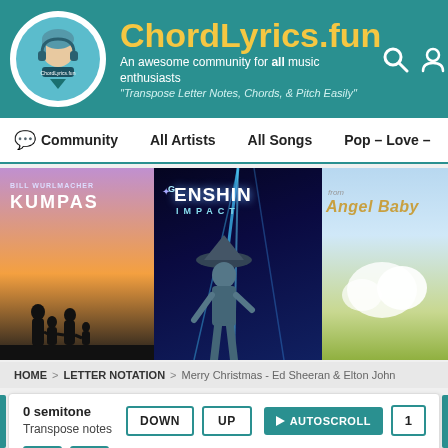ChordLyrics.fun — An awesome community for all music enthusiasts — "Transpose Letter Notes, Chords, & Pitch Easily"
Community  All Artists  All Songs  Pop – Love –
[Figure (photo): Three album art panels: Kumpas (family silhouette at sunset), Genshin Impact (anime character with blue light beams), Angel Baby (pastoral sky)]
HOME > LETTER NOTATION > Merry Christmas - Ed Sheeran & Elton John
0 semitone Transpose notes  DOWN  UP  ▶ AUTOSCROLL  1  2  3